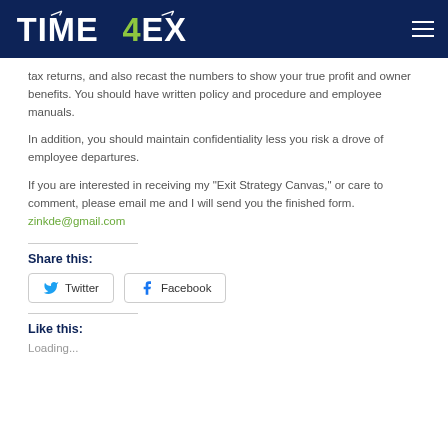TIME 4 EXIT
tax returns, and also recast the numbers to show your true profit and owner benefits. You should have written policy and procedure and employee manuals.
In addition, you should maintain confidentiality less you risk a drove of employee departures.
If you are interested in receiving my “Exit Strategy Canvas,” or care to comment, please email me and I will send you the finished form. zinkde@gmail.com
Share this:
Twitter  Facebook
Like this:
Loading...